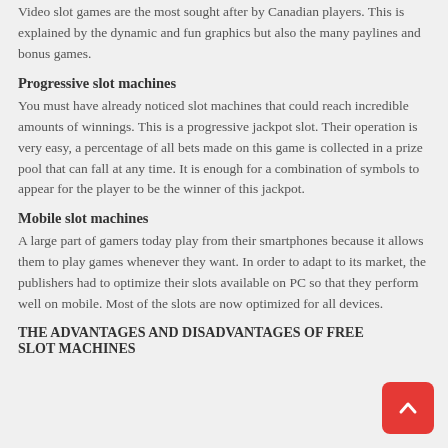Video slot games are the most sought after by Canadian players. This is explained by the dynamic and fun graphics but also the many paylines and bonus games.
Progressive slot machines
You must have already noticed slot machines that could reach incredible amounts of winnings. This is a progressive jackpot slot. Their operation is very easy, a percentage of all bets made on this game is collected in a prize pool that can fall at any time. It is enough for a combination of symbols to appear for the player to be the winner of this jackpot.
Mobile slot machines
A large part of gamers today play from their smartphones because it allows them to play games whenever they want. In order to adapt to its market, the publishers had to optimize their slots available on PC so that they perform well on mobile. Most of the slots are now optimized for all devices.
THE ADVANTAGES AND DISADVANTAGES OF FREE SLOT MACHINES